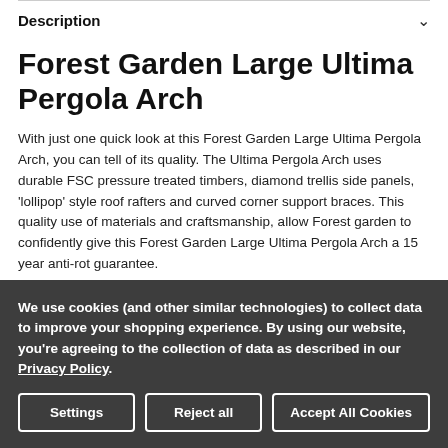Description
Forest Garden Large Ultima Pergola Arch
With just one quick look at this Forest Garden Large Ultima Pergola Arch, you can tell of its quality. The Ultima Pergola Arch uses durable FSC pressure treated timbers, diamond trellis side panels, 'lollipop' style roof rafters and curved corner support braces. This quality use of materials and craftsmanship, allow Forest garden to confidently give this Forest Garden Large Ultima Pergola Arch a 15 year anti-rot guarantee.
We use cookies (and other similar technologies) to collect data to improve your shopping experience. By using our website, you're agreeing to the collection of data as described in our Privacy Policy.